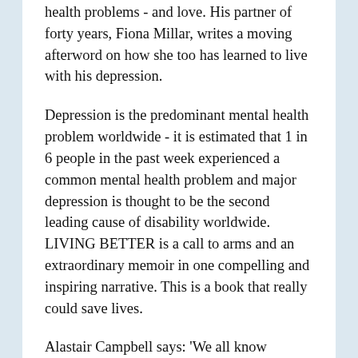health problems - and love. His partner of forty years, Fiona Millar, writes a moving afterword on how she too has learned to live with his depression.
Depression is the predominant mental health problem worldwide - it is estimated that 1 in 6 people in the past week experienced a common mental health problem and major depression is thought to be the second leading cause of disability worldwide. LIVING BETTER is a call to arms and an extraordinary memoir in one compelling and inspiring narrative. This is a book that really could save lives.
Alastair Campbell says: 'We all know someone with depression. There is barely a family untouched by it. We may be talking about it more than we did, back in the era of 'boys don't cry' - they did you know - and when a brave face or a